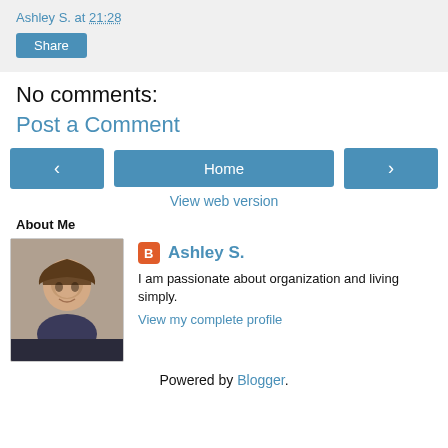Ashley S. at 21:28
Share
No comments:
Post a Comment
< Home >
View web version
About Me
[Figure (photo): Profile photo of Ashley S., a woman with light brown hair, smiling]
Ashley S.
I am passionate about organization and living simply.
View my complete profile
Powered by Blogger.